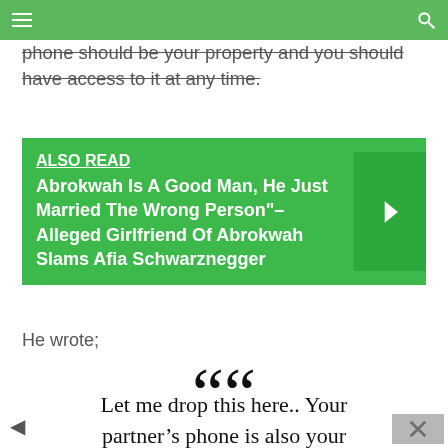Navigation bar with hamburger menu and search icon
phone should be your property and you should have access to it at any time.
ALSO READ  Abrokwah Is A Good Man, He Just Married The Wrong Person"– Alleged Girlfriend Of Abrokwah Slams Afia Schwarznegger
He wrote;
““
Let me drop this here.. Your partner’s phone is also your